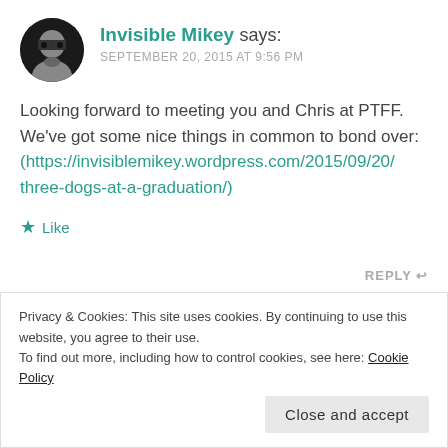[Figure (photo): Circular avatar photo of a person wearing sunglasses, black and white photo]
Invisible Mikey says:
SEPTEMBER 20, 2015 AT 9:56 PM
Looking forward to meeting you and Chris at PTFF. We've got some nice things in common to bond over: (https://invisiblemikey.wordpress.com/2015/09/20/three-dogs-at-a-graduation/)
★ Like
REPLY ↩
Privacy & Cookies: This site uses cookies. By continuing to use this website, you agree to their use.
To find out more, including how to control cookies, see here: Cookie Policy
Close and accept